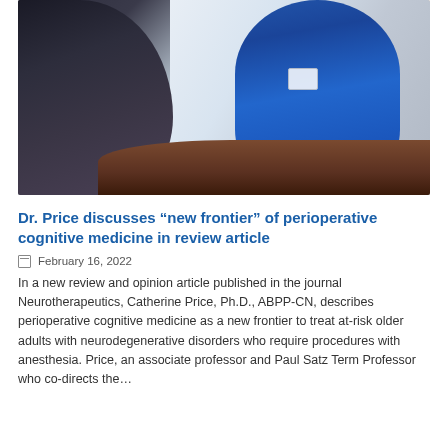[Figure (photo): A woman in a blue top wearing a badge consults with an older man across a table, gesturing with her hands in what appears to be a medical consultation setting.]
Dr. Price discusses “new frontier” of perioperative cognitive medicine in review article
February 16, 2022
In a new review and opinion article published in the journal Neurotherapeutics, Catherine Price, Ph.D., ABPP-CN, describes perioperative cognitive medicine as a new frontier to treat at-risk older adults with neurodegenerative disorders who require procedures with anesthesia. Price, an associate professor and Paul Satz Term Professor who co-directs the…